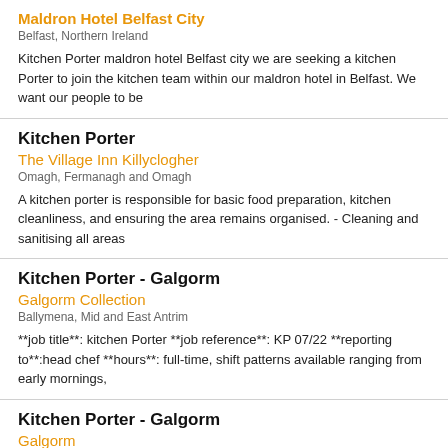Maldron Hotel Belfast City
Belfast, Northern Ireland
Kitchen Porter maldron hotel Belfast city we are seeking a kitchen Porter to join the kitchen team within our maldron hotel in Belfast. We want our people to be
Kitchen Porter
The Village Inn Killyclogher
Omagh, Fermanagh and Omagh
A kitchen porter is responsible for basic food preparation, kitchen cleanliness, and ensuring the area remains organised. - Cleaning and sanitising all areas
Kitchen Porter - Galgorm
Galgorm Collection
Ballymena, Mid and East Antrim
**job title**: kitchen Porter **job reference**: KP 07/22 **reporting to**:head chef **hours**: full-time, shift patterns available ranging from early mornings,
Kitchen Porter - Galgorm
Galgorm
Galgorm, Mid and East Antrim
**the closing date for applications will be Friday 26th August 2022** **job title**:kitchen Porter **job reference**: KP 07/22 **reporting to**: head chef